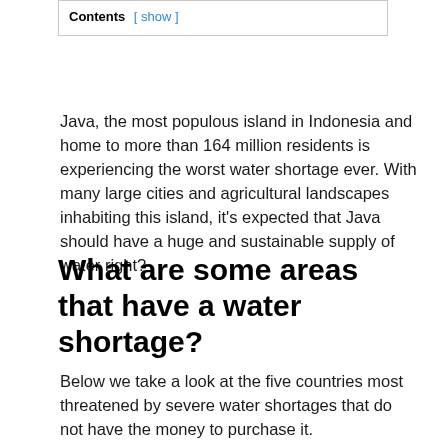Contents [ show ]
Java, the most populous island in Indonesia and home to more than 164 million residents is experiencing the worst water shortage ever. With many large cities and agricultural landscapes inhabiting this island, it's expected that Java should have a huge and sustainable supply of water right?
What are some areas that have a water shortage?
Below we take a look at the five countries most threatened by severe water shortages that do not have the money to purchase it.